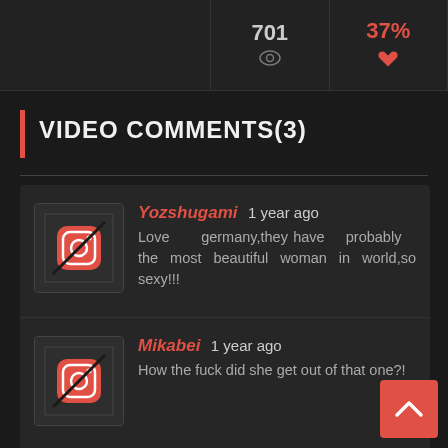[Figure (screenshot): Top stats bar showing 701 views icon and 37% red heart icon]
VIDEO COMMENTS(3)
Yozshugami 1 year ago
Love germany,they have probably the most beautiful woman in world,so sexy!!!
Mikabei 1 year ago
How the fuck did she get out of that one?!